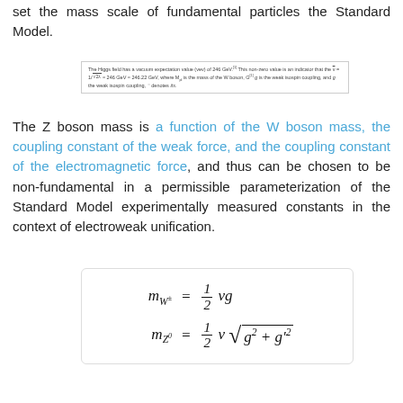set the mass scale of fundamental particles the Standard Model.
The Higgs field has a vacuum expectation value (vev) of 246 GeV. This non-zero value is an indicator that v = 1/sqrt(2λ) ≈ 246 GeV ≈ 246.22 GeV, where Mpl is the mass of the W boson, g is the weak isospin coupling, ⁻ denotes its...
The Z boson mass is a function of the W boson mass, the coupling constant of the weak force, and the coupling constant of the electromagnetic force, and thus can be chosen to be non-fundamental in a permissible parameterization of the Standard Model experimentally measured constants in the context of electroweak unification.